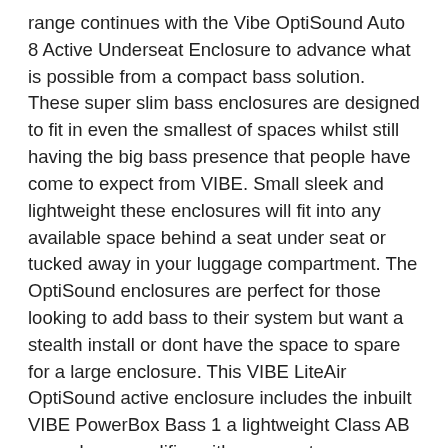range continues with the Vibe OptiSound Auto 8 Active Underseat Enclosure to advance what is possible from a compact bass solution. These super slim bass enclosures are designed to fit in even the smallest of spaces whilst still having the big bass presence that people have come to expect from VIBE. Small sleek and lightweight these enclosures will fit into any available space behind a seat under seat or tucked away in your luggage compartment. The OptiSound enclosures are perfect for those looking to add bass to their system but want a stealth install or dont have the space to spare for a large enclosure. This VIBE LiteAir OptiSound active enclosure includes the inbuilt VIBE PowerBox Bass 1 a lightweight Class AB mono bass amplifier with a separate power amp for superior sound quality. Combined with the new extruded aluminum heatsink this also ensures efficient dispersion of heat. MOSFET Power allows high switching speeds and even greater stability than other FETs to improve overall performance. This small but capable bass amplifier is capable of delivering up to 900